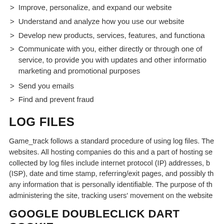Improve, personalize, and expand our website
Understand and analyze how you use our website
Develop new products, services, features, and functiona
Communicate with you, either directly or through one of service, to provide you with updates and other informatio marketing and promotional purposes
Send you emails
Find and prevent fraud
LOG FILES
Game_track follows a standard procedure of using log files. The websites. All hosting companies do this and a part of hosting se collected by log files include internet protocol (IP) addresses, b (ISP), date and time stamp, referring/exit pages, and possibly th any information that is personally identifiable. The purpose of th administering the site, tracking users' movement on the website
GOOGLE DOUBLECLICK DART COOKIE